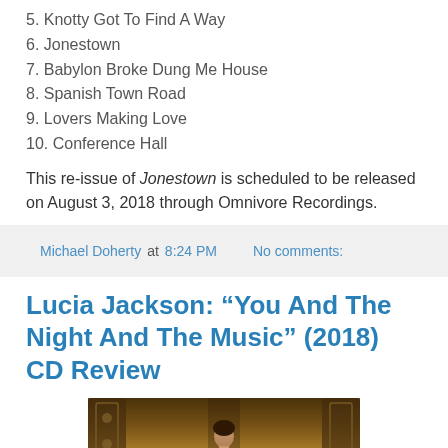5. Knotty Got To Find A Way
6. Jonestown
7. Babylon Broke Dung Me House
8. Spanish Town Road
9. Lovers Making Love
10. Conference Hall
This re-issue of Jonestown is scheduled to be released on August 3, 2018 through Omnivore Recordings.
Michael Doherty at 8:24 PM   No comments:
Lucia Jackson: “You And The Night And The Music” (2018) CD Review
[Figure (photo): Photo of a woman standing in an ornate interior setting, warm amber/gold tones]